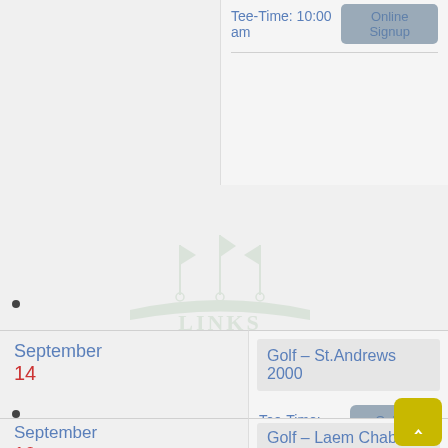Tee-Time: 10:00 am
Online Signup
[Figure (logo): LINKS golf club watermark logo with three flags and wing design]
September
14
Golf – St.Andrews 2000
Tee-Time: 10:00 am
Online Signup
September
16
Golf – Laem Chabang